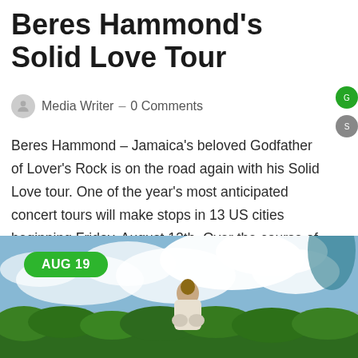Beres Hammond's Solid Love Tour
Media Writer – 0 Comments
Beres Hammond – Jamaica's beloved Godfather of Lover's Rock is on the road again with his Solid Love tour.  One of the year's most anticipated concert tours will make stops in 13 US cities beginning Friday, August 12th. Over the course of his…
[Figure (photo): Person in white robe standing outdoors against a cloudy sky with green foliage, with an 'AUG 19' green date badge overlay]